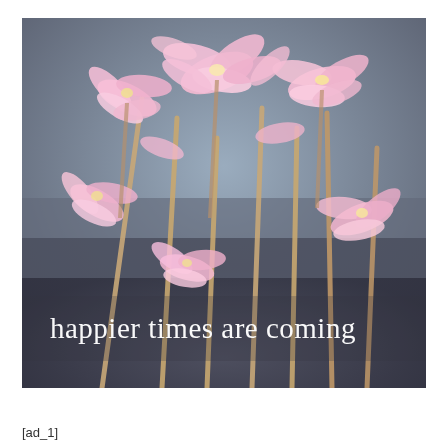[Figure (photo): Close-up photograph of pink amaryllis (belladonna lily) flowers on tall stems against a blurred grey-blue background. Multiple pink trumpet-shaped flowers with delicate petals are shown, with the text 'happier times are coming' overlaid in white serif font at the bottom of the image.]
[ad_1]